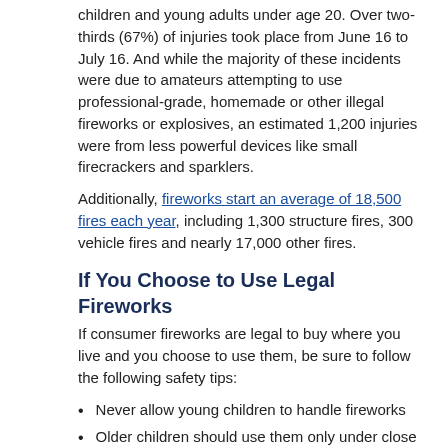children and young adults under age 20. Over two-thirds (67%) of injuries took place from June 16 to July 16. And while the majority of these incidents were due to amateurs attempting to use professional-grade, homemade or other illegal fireworks or explosives, an estimated 1,200 injuries were from less powerful devices like small firecrackers and sparklers.
Additionally, fireworks start an average of 18,500 fires each year, including 1,300 structure fires, 300 vehicle fires and nearly 17,000 other fires.
If You Choose to Use Legal Fireworks
If consumer fireworks are legal to buy where you live and you choose to use them, be sure to follow the following safety tips:
Never allow young children to handle fireworks
Older children should use them only under close adult supervision